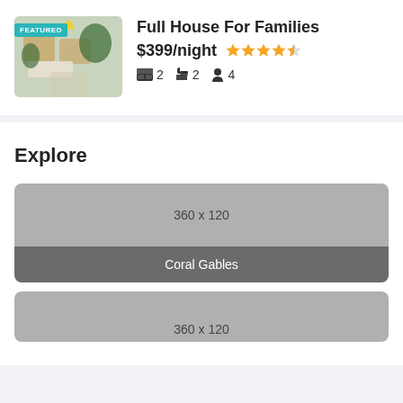[Figure (photo): Interior photo of a furnished living room with rattan chairs and plants, tagged as FEATURED]
Full House For Families
$399/night ★★★★½
🛏 2  🚿 2  👤 4
Explore
[Figure (illustration): Placeholder image 360 x 120 labeled Coral Gables]
[Figure (illustration): Placeholder image 360 x 120 (second, partially visible)]